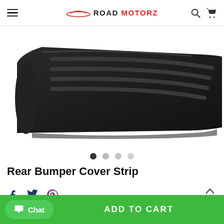Road Motorz
[Figure (photo): Close-up photo of a black rubber rear bumper cover strip with ridged surface texture, shown against white background.]
Rear Bumper Cover Strip
Social share icons: Facebook, Twitter, Pinterest. TOP button.
Chat | ADD TO CART